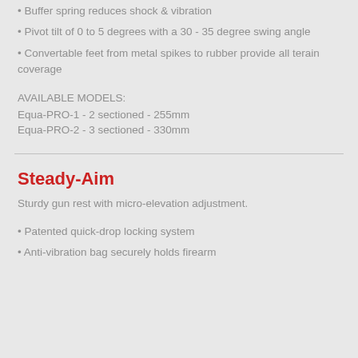• Buffer spring reduces shock & vibration
• Pivot tilt of 0 to 5 degrees with a 30 - 35 degree swing angle
• Convertable feet from metal spikes to rubber provide all terain coverage
AVAILABLE MODELS:
Equa-PRO-1 - 2 sectioned - 255mm
Equa-PRO-2 - 3 sectioned - 330mm
Steady-Aim
Sturdy gun rest with micro-elevation adjustment.
• Patented quick-drop locking system
• Anti-vibration bag securely holds firearm